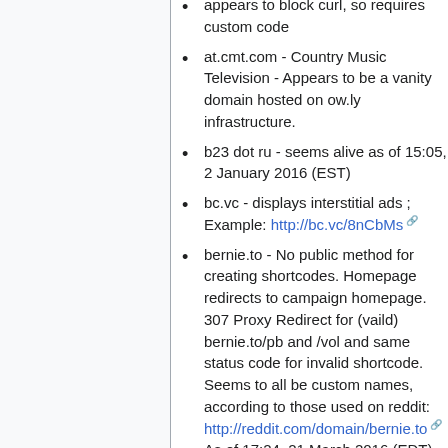appears to block curl, so requires custom code
at.cmt.com - Country Music Television - Appears to be a vanity domain hosted on ow.ly infrastructure.
b23 dot ru - seems alive as of 15:05, 2 January 2016 (EST)
bc.vc - displays interstitial ads ; Example: http://bc.vc/8nCbMs
bernie.to - No public method for creating shortcodes. Homepage redirects to campaign homepage. 307 Proxy Redirect for (vaild) bernie.to/pb and /vol and same status code for invalid shortcode. Seems to all be custom names, according to those used on reddit: http://reddit.com/domain/bernie.to As of 17:24, 21 March 2016 (EDT)